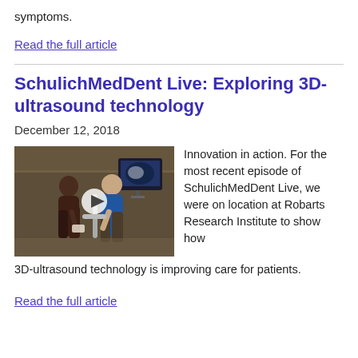symptoms.
Read the full article
SchulichMedDent Live: Exploring 3D-ultrasound technology
December 12, 2018
[Figure (photo): Two researchers in a lab working with 3D-ultrasound equipment; a monitor displays an ultrasound image in the background. A play button overlay is visible on the image.]
Innovation in action. For the most recent episode of SchulichMedDent Live, we were on location at Robarts Research Institute to show how 3D-ultrasound technology is improving care for patients.
Read the full article